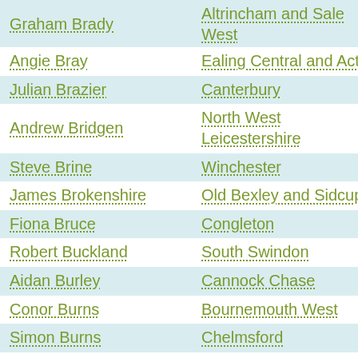| Name | Constituency |
| --- | --- |
| Graham Brady | Altrincham and Sale West |
| Angie Bray | Ealing Central and Acton |
| Julian Brazier | Canterbury |
| Andrew Bridgen | North West Leicestershire |
| Steve Brine | Winchester |
| James Brokenshire | Old Bexley and Sidcup |
| Fiona Bruce | Congleton |
| Robert Buckland | South Swindon |
| Aidan Burley | Cannock Chase |
| Conor Burns | Bournemouth West |
| Simon Burns | Chelmsford |
| David Burrowes | Enfield, Southgate |
| Dan Byles | North Warwickshire |
| Alun Cairns | Vale of Glamorgan |
| Douglas Carswell | Clacton |
| Bill Cash | Stone |
| Rehman Chishti | Gillingham and Rainham |
| Christopher Chope | Christchurch |
| James Clappison | Hertsmere |